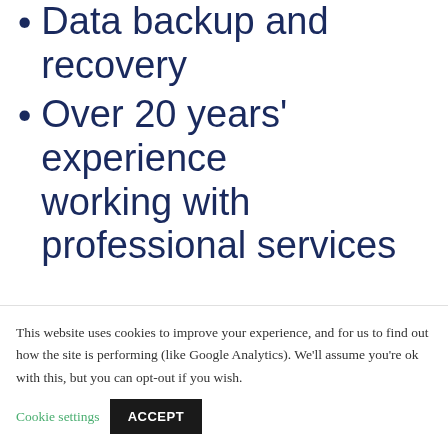Data backup and recovery
Over 20 years' experience working with professional services
Utilise our expertise as your Chief Technology Officer
Take full advantage of our...
This website uses cookies to improve your experience, and for us to find out how the site is performing (like Google Analytics). We'll assume you're ok with this, but you can opt-out if you wish. Cookie settings ACCEPT